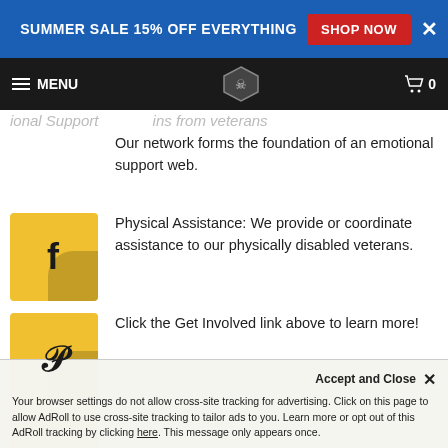SUMMER SALE 15% OFF EVERYTHING  SHOP NOW  ×
≡ MENU  [logo]  🛒 0
ional Support ins from veterans
Our network forms the foundation of an emotional support web.
Physical Assistance: We provide or coordinate assistance to our physically disabled veterans.
Click the Get Involved link above to learn more!
Looking for our financial information?  It's at the bottom of this page.
Accept and Close
× Your browser settings do not allow cross-site tracking for advertising. Click on this page to allow AdRoll to use cross-site tracking to tailor ads to you. Learn more or opt out of this AdRoll tracking by clicking here. This message only appears once.